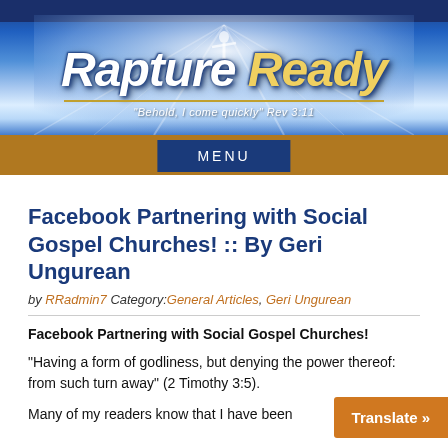[Figure (illustration): Rapture Ready website header banner with blue sky, light rays, figure with arms raised, logo text 'Rapture Ready' and tagline 'Behold, I come quickly Rev 3:11']
MENU
Facebook Partnering with Social Gospel Churches! :: By Geri Ungurean
by RRadmin7 Category: General Articles, Geri Ungurean
Facebook Partnering with Social Gospel Churches!
“Having a form of godliness, but denying the power thereof: from such turn away” (2 Timothy 3:5).
Many of my readers know that I have been